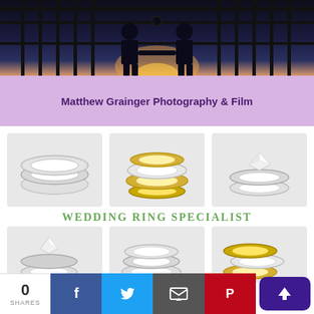[Figure (photo): Silhouette of two people at iron gates against a dramatic sunset sky in dark blue and orange tones]
Matthew Grainger Photography & Film
[Figure (photo): Wedding ring specialist advertisement showing six groups of diamond and gold wedding rings arranged in two rows of three, with text WEDDING RING SPECIALIST in green]
0 SHARES | Facebook | Twitter | Email | Pinterest | Upload